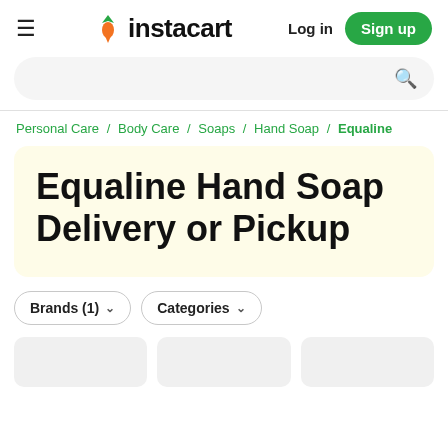instacart  Log in  Sign up
Personal Care / Body Care / Soaps / Hand Soap / Equaline
Equaline Hand Soap Delivery or Pickup
Brands (1)
Categories